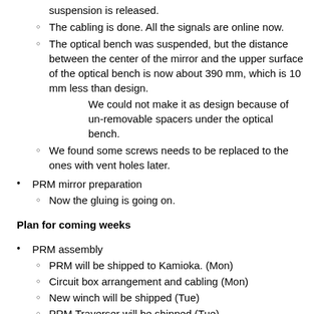suspension is released.
The cabling is done. All the signals are online now.
The optical bench was suspended, but the distance between the center of the mirror and the upper surface of the optical bench is now about 390 mm, which is 10 mm less than design.
    We could not make it as design because of un-removable spacers under the optical bench.
We found some screws needs to be replaced to the ones with vent holes later.
PRM mirror preparation
Now the gluing is going on.
Plan for coming weeks
PRM assembly
PRM will be shipped to Kamioka. (Mon)
Circuit box arrangement and cabling (Mon)
New winch will be shipped (Tue)
PRM Traverser will be shipped (Tue)
PRM IM assembly (Tue)